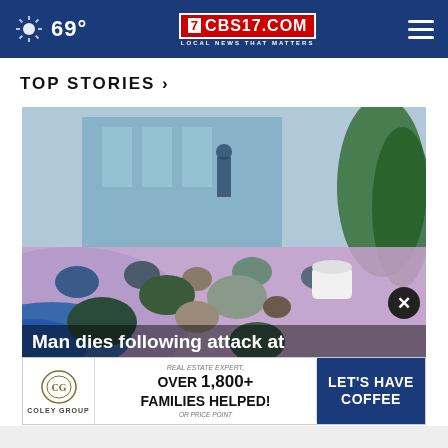69° CBS17.COM LOCAL NEWS THAT MATTERS
TOP STORIES ›
[Figure (photo): Colorful gemstones and crystals displayed on blue and pink fabric outdoors, with a background of glass building and plants.]
Man dies following attack at gay pri...
[Figure (infographic): Advertisement banner: Coley Group - Real Estate Expert, Over 1,800+ Families Helped! Or Price Point - Let's Have Coffee]